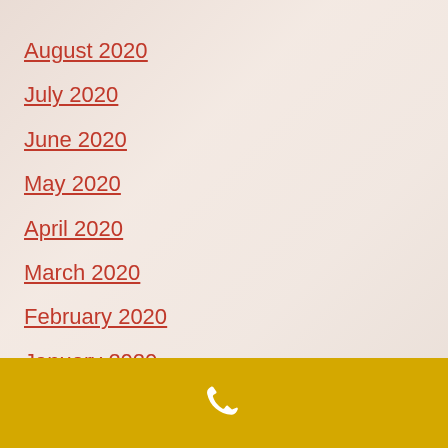August 2020
July 2020
June 2020
May 2020
April 2020
March 2020
February 2020
January 2020
[Figure (illustration): Phone icon on golden/yellow footer bar at the bottom of the page]